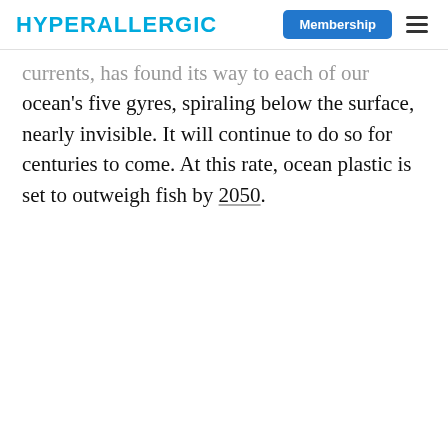HYPERALLERGIC | Membership
currents, has found its way to each of our ocean's five gyres, spiraling below the surface, nearly invisible. It will continue to do so for centuries to come. At this rate, ocean plastic is set to outweigh fish by 2050.